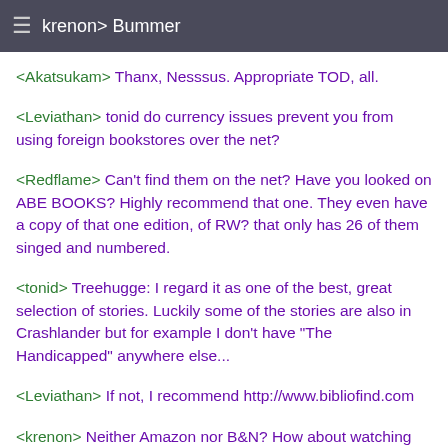krenon> Bummer
<Akatsukam> Thanx, Nesssus. Appropriate TOD, all.
<Leviathan> tonid do currency issues prevent you from using foreign bookstores over the net?
<Redflame> Can't find them on the net? Have you looked on ABE BOOKS? Highly recommend that one. They even have a copy of that one edition, of RW? that only has 26 of them singed and numbered.
<tonid> Treehugge: I regard it as one of the best, great selection of stories. Luckily some of the stories are also in Crashlander but for example I don't have "The Handicapped" anywhere else...
<Leviathan> If not, I recommend http://www.bibliofind.com
<krenon> Neither Amazon nor B&N? How about watching Ebay